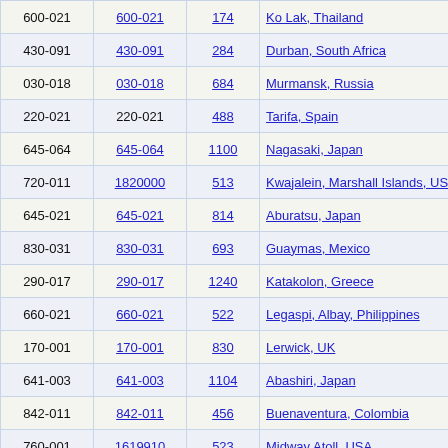| 600-021 | 600-021 | 174 | Ko Lak, Thailand |
| 430-091 | 430-091 | 284 | Durban, South Africa |
| 030-018 | 030-018 | 684 | Murmansk, Russia |
| 220-021 | 220-021 | 488 | Tarifa, Spain |
| 645-064 | 645-064 | 1100 | Nagasaki, Japan |
| 720-011 | 1820000 | 513 | Kwajalein, Marshall Islands, USA |
| 645-021 | 645-021 | 814 | Aburatsu, Japan |
| 830-031 | 830-031 | 693 | Guaymas, Mexico |
| 290-017 | 290-017 | 1240 | Katakolon, Greece |
| 660-021 | 660-021 | 522 | Legaspi, Albay, Philippines |
| 170-001 | 170-001 | 830 | Lerwick, UK |
| 641-003 | 641-003 | 1104 | Abashiri, Japan |
| 842-011 | 842-011 | 456 | Buenaventura, Colombia |
| 760-001 | 1619910 | 523 | Midway Atoll, USA |
| 290-065 | 290-065 | 1238 | Alexandroupolis, Greece |
| 175-071 | 175-071 | 432 | Dublin, Ireland |